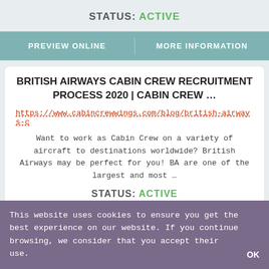STATUS: ACTIVE
PREVIEW ONLINE
MORE INFORMATION
BRITISH AIRWAYS CABIN CREW RECRUITMENT PROCESS 2020 | CABIN CREW ...
https://www.cabincrewwings.com/blog/british-airways-c
Want to work as Cabin Crew on a variety of aircraft to destinations worldwide? British Airways may be perfect for you! BA are one of the largest and most ...
STATUS: ACTIVE
This website uses cookies to ensure you get the best experience on our website. If you continue browsing, we consider that you accept their use.
OK